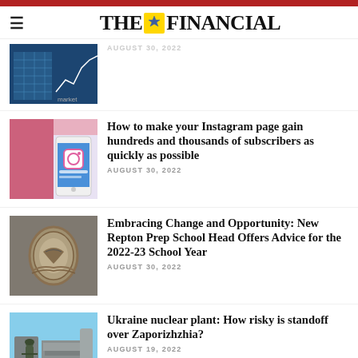THE FINANCIAL
[Figure (photo): Stock market graph and building facade thumbnail]
AUGUST 30, 2022
[Figure (photo): Instagram app on a phone thumbnail]
How to make your Instagram page gain hundreds and thousands of subscribers as quickly as possible
AUGUST 30, 2022
[Figure (photo): Ornate crest or emblem on stone building thumbnail]
Embracing Change and Opportunity: New Repton Prep School Head Offers Advice for the 2022-23 School Year
AUGUST 30, 2022
[Figure (photo): Soldier standing in front of nuclear plant with blue sky thumbnail]
Ukraine nuclear plant: How risky is standoff over Zaporizhzhia?
AUGUST 19, 2022
TOP